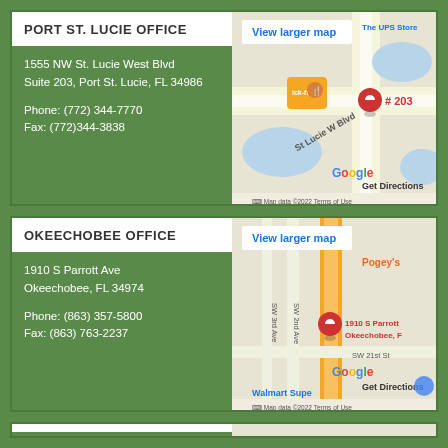PORT ST. LUCIE OFFICE
1555 NW St. Lucie West Blvd
Suite 203, Port St. Lucie, FL 34986

Phone: (772) 344-7770
Fax: (772)344-3838
[Figure (map): Google Map showing location at 1555 NW St. Lucie West Blvd, Suite 203, with red pin marker, St Lucie W Blvd label, The UPS Store nearby, View larger map link, Get Directions link, Map data ©2022 Terms of Use]
OKEECHOBEE OFFICE
1910 S Parrott Ave
Okeechobee, FL 34974

Phone: (863) 357-5800
Fax: (863) 763-2237
[Figure (map): Google Map showing location at 1910 S Parrott Ave, Okeechobee FL, with red pin marker, SW 2nd Ave, SW 3rd Ave, SW 21st St labels, Pogey's and Walmart Supercenter nearby, View larger map link, Get Directions link, Map data ©2022 Terms of Use]